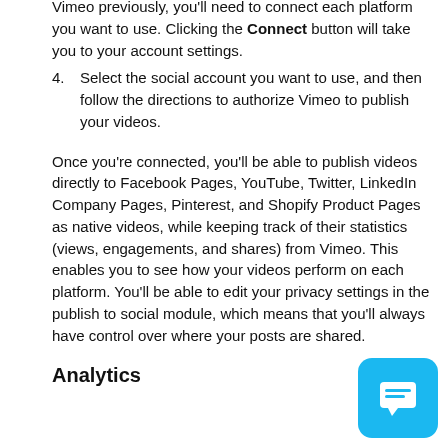Vimeo previously, you'll need to connect each platform you want to use. Clicking the Connect button will take you to your account settings.
4. Select the social account you want to use, and then follow the directions to authorize Vimeo to publish your videos.
Once you're connected, you'll be able to publish videos directly to Facebook Pages, YouTube, Twitter, LinkedIn Company Pages, Pinterest, and Shopify Product Pages as native videos, while keeping track of their statistics (views, engagements, and shares) from Vimeo. This enables you to see how your videos perform on each platform. You'll be able to edit your privacy settings in the publish to social module, which means that you'll always have control over where your posts are shared.
Analytics